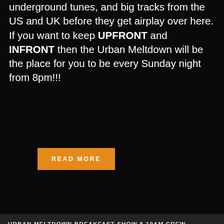underground tunes, and big tracks from the US and UK before they get airplay over here. If you want to keep UPFRONT and INFRONT then the Urban Meltdown will be the place for you to be every Sunday night from 8pm!!!
READ MORE
URBAN MELTDOWN BREAKFAST SHOW 8-10AM CREW
CURRENT DJ/PRESENTER
[Figure (photo): Photo of Brett Costello, current DJ/Presenter, shown from shoulders up against a dark background with a dot-pattern graphic element on the right side]
BRETT COSTELLO
[Figure (other): Yellow/gold play button arrow pointing right]